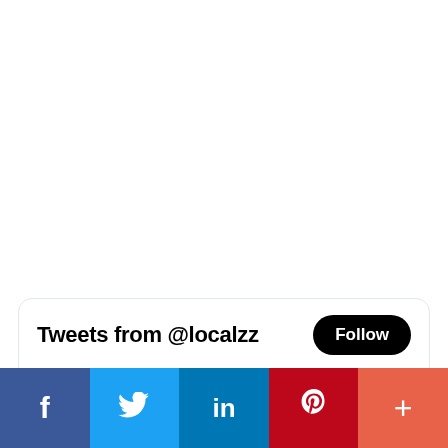[Figure (screenshot): Twitter/X widget showing 'Tweets from @localzz' header with Follow button, and a tweet from Localzz @localzz · 3h with text 'LocalFeatured.com hits 50,218 Total' and the Localzz logo avatar]
[Figure (infographic): Social sharing bar at bottom with Facebook (blue), Twitter (light blue), LinkedIn (dark blue), Pinterest (red), and More (orange-red) icons]